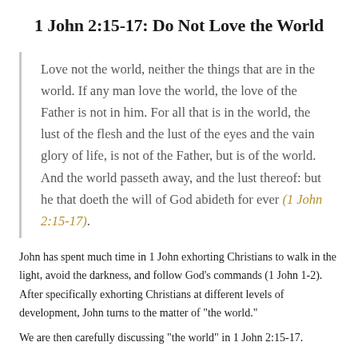1 John 2:15-17: Do Not Love the World
Love not the world, neither the things that are in the world. If any man love the world, the love of the Father is not in him. For all that is in the world, the lust of the flesh and the lust of the eyes and the vain glory of life, is not of the Father, but is of the world. And the world passeth away, and the lust thereof: but he that doeth the will of God abideth for ever (1 John 2:15-17).
John has spent much time in 1 John exhorting Christians to walk in the light, avoid the darkness, and follow God’s commands (1 John 1-2). After specifically exhorting Christians at different levels of development, John turns to the matter of “the world.”
We are then carefully discussing “the world” in 1 John 2:15-17.